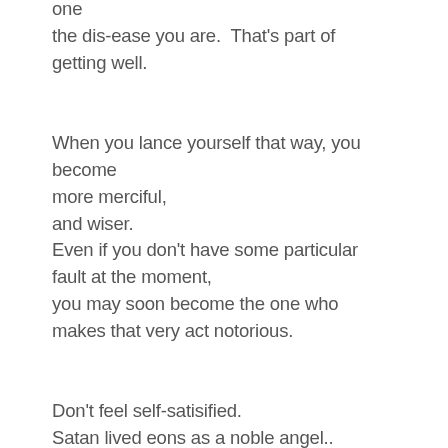one
the dis-ease you are.  That's part of getting well.

When you lance yourself that way, you become
more merciful,
and wiser.
Even if you don't have some particular fault at the moment,
you may soon become the one who makes that very act notorious.

Don't feel self-satisified.
Satan lived eons as a noble angel..
Think what that name means now.
Don't try to become famous until your face
is completely washed of all fear...